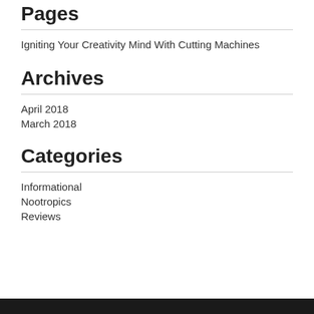Pages
Igniting Your Creativity Mind With Cutting Machines
Archives
April 2018
March 2018
Categories
Informational
Nootropics
Reviews